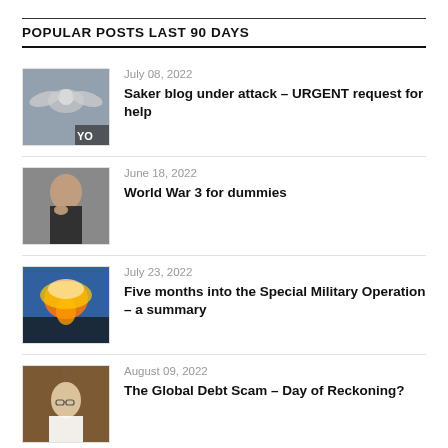POPULAR POSTS LAST 90 DAYS
July 08, 2022 — Saker blog under attack – URGENT request for help
June 18, 2022 — World War 3 for dummies
July 23, 2022 — Five months into the Special Military Operation – a summary
August 09, 2022 — The Global Debt Scam – Day of Reckoning?